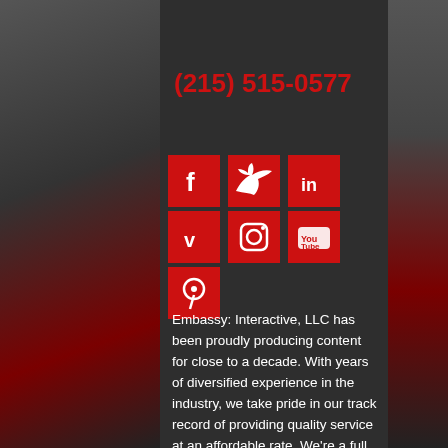Search this website
(215) 515-0577
[Figure (other): Social media icon buttons: Facebook, Twitter, LinkedIn, Vimeo, Instagram, YouTube, Pinterest — all red square buttons with white icons]
Embassy: Interactive, LLC has been proudly producing content for close to a decade. With years of diversified experience in the industry, we take pride in our track record of providing quality service at an affordable rate. We're a full service multimedia firm: